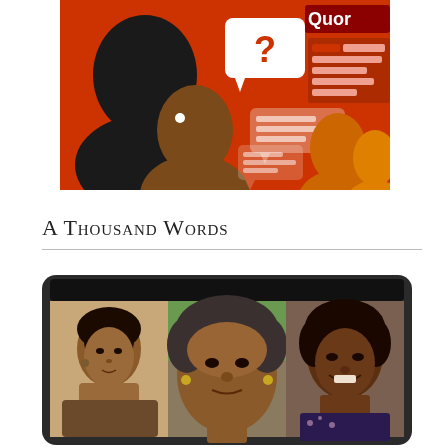[Figure (illustration): Quora-style illustration on orange/red background showing silhouetted figures with speech bubbles containing a question mark, and a partial 'Quor' logo in upper right corner.]
A Thousand Words
[Figure (photo): Tablet device displaying a triptych of three photos of the same Black woman at different ages: a young woman in sepia/black-and-white portrait on the left, an elderly woman in the center, and a middle-aged woman smiling on the right.]